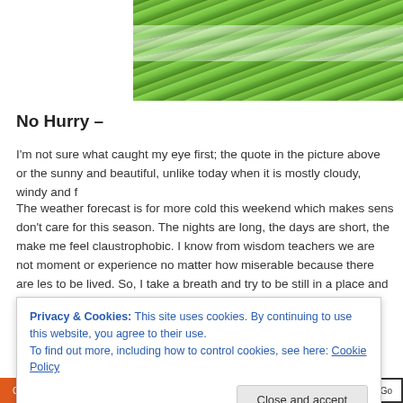[Figure (photo): Photograph of green grass field with a white diagonal stripe or path through it]
No Hurry –
I'm not sure what caught my eye first; the quote in the picture above or the sunny and beautiful, unlike today when it is mostly cloudy, windy and f
The weather forecast is for more cold this weekend which makes sens don't care for this season. The nights are long, the days are short, the make me feel claustrophobic. I know from wisdom teachers we are not moment or experience no matter how miserable because there are les to be lived. So, I take a breath and try to be still in a place and time I'd
Privacy & Cookies: This site uses cookies. By continuing to use this website, you agree to their use. To find out more, including how to control cookies, see here: Cookie Policy
Close and accept